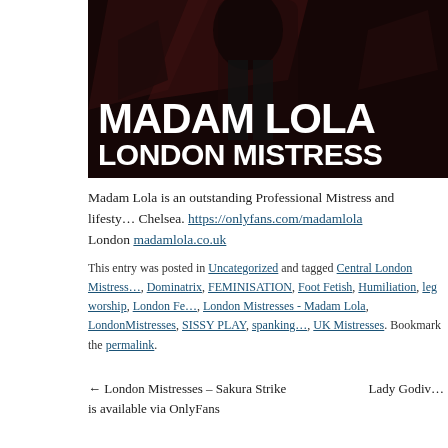[Figure (photo): Banner image for Madam Lola London Mistress website, showing a dark dramatic background with the text MADAM LOLA in large white bold letters and LONDON MISTRESS below it]
Madam Lola is an outstanding Professional Mistress and lifestyle Chelsea. https://onlyfans.com/madamlola
London madamlola.co.uk
This entry was posted in Uncategorized and tagged Central London Mistress, Dominatrix, FEMINISATION, Foot Fetish, Humiliation, leg worship, London Fe, London Mistresses - Madam Lola, LondonMistresses, SISSY PLAY, spanking, UK Mistresses. Bookmark the permalink.
← London Mistresses – Sakura Strike is available via OnlyFans
Lady Godiv…